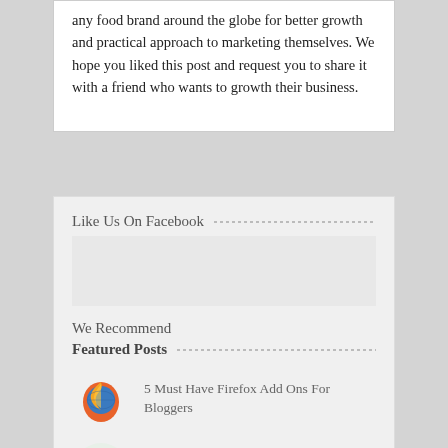any food brand around the globe for better growth and practical approach to marketing themselves. We hope you liked this post and request you to share it with a friend who wants to growth their business.
Like Us On Facebook
We Recommend
Featured Posts
5 Must Have Firefox Add Ons For Bloggers
How To Enable APK Installs On Your